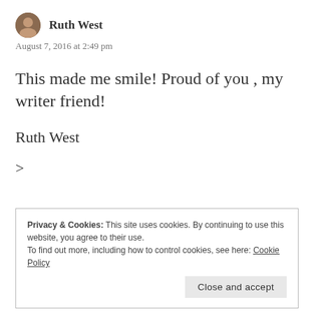Ruth West
August 7, 2016 at 2:49 pm
This made me smile! Proud of you , my writer friend!
Ruth West
>
Privacy & Cookies: This site uses cookies. By continuing to use this website, you agree to their use.
To find out more, including how to control cookies, see here: Cookie Policy
Close and accept